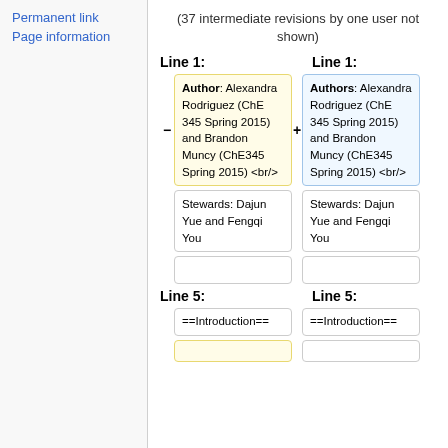Permanent link
Page information
(37 intermediate revisions by one user not shown)
Line 1:
Line 1:
Author: Alexandra Rodriguez (ChE 345 Spring 2015) and Brandon Muncy (ChE345 Spring 2015) <br/>
Authors: Alexandra Rodriguez (ChE 345 Spring 2015) and Brandon Muncy (ChE345 Spring 2015) <br/>
Stewards: Dajun Yue and Fengqi You
Stewards: Dajun Yue and Fengqi You
Line 5:
Line 5:
==Introduction==
==Introduction==